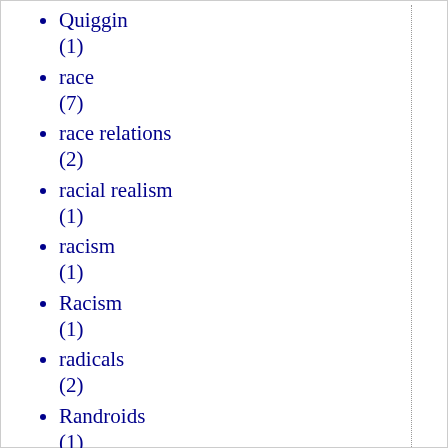Quiggin (1)
race (7)
race relations (2)
racial realism (1)
racism (1)
Racism (1)
radicals (2)
Randroids (1)
Rationalism (1)
rationalism (1)
Rationalizing Voter (1)